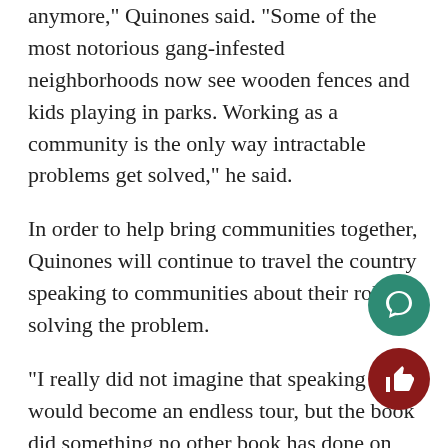anymore," Quinones said. "Some of the most notorious gang-infested neighborhoods now see wooden fences and kids playing in parks. Working as a community is the only way intractable problems get solved," he said.
In order to help bring communities together, Quinones will continue to travel the country speaking to communities about their role in solving the problem.
"I really did not imagine that speaking would become an endless tour, but the book did something no other book has done on this topic. Books don't often break a story," he said.
UW-Whitewater senior Jamie Schiesel has seen exactly what Quinones was speaking about and likes his idea for a solution.
"I know there are a couple of counties back where I live that struggle with it a little bit. I enjoyed that he was in for community to solve problems. I think if people actually care